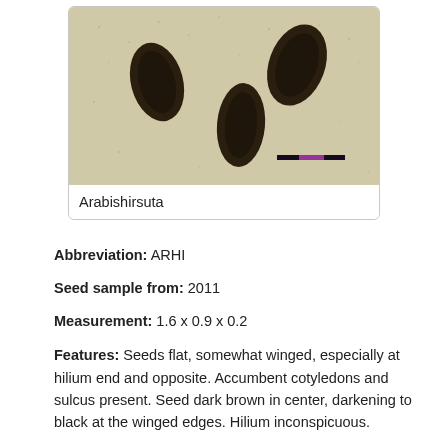[Figure (photo): Close-up photograph of Arabis hirsuta seeds — dark brown, flat, somewhat winged seeds on a light beige/cream background. A scale bar is visible in the lower right of the image.]
Arabishirsuta
Abbreviation: ARHI
Seed sample from: 2011
Measurement: 1.6 x 0.9 x 0.2
Features: Seeds flat, somewhat winged, especially at hilium end and opposite. Accumbent cotyledons and sulcus present. Seed dark brown in center, darkening to black at the winged edges. Hilium inconspicuous.